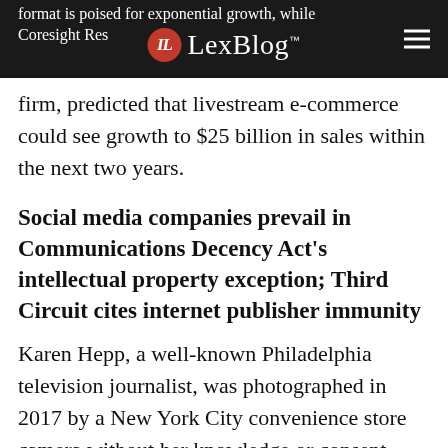LexBlog
format is poised for exponential growth, while Coresight Research, a retail tech analysis firm, predicted that livestream e-commerce could see growth to $25 billion in sales within the next two years.
Social media companies prevail in Communications Decency Act's intellectual property exception; Third Circuit cites internet publisher immunity
Karen Hepp, a well-known Philadelphia television journalist, was photographed in 2017 by a New York City convenience store camera without her knowledge or consent.